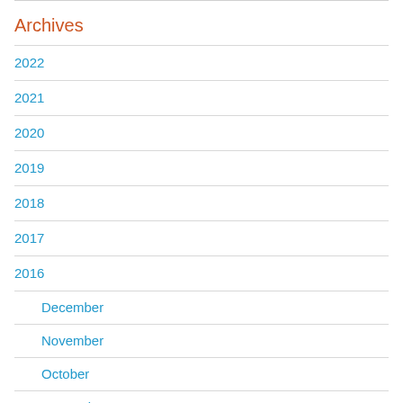Archives
2022
2021
2020
2019
2018
2017
2016
December
November
October
September
August
July
June